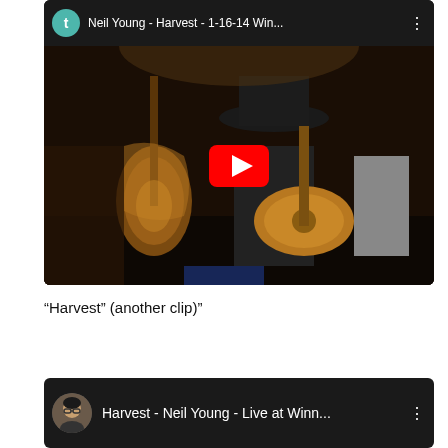[Figure (screenshot): YouTube video embed showing Neil Young - Harvest - 1-16-14 Win... A musician wearing a wide-brim hat plays acoustic guitar on stage with multiple guitars visible. A red YouTube play button is overlaid in the center.]
“Harvest” (another clip)”
[Figure (screenshot): YouTube video card showing Harvest - Neil Young - Live at Winn... with a circular avatar photo of a person with glasses and dark hair.]